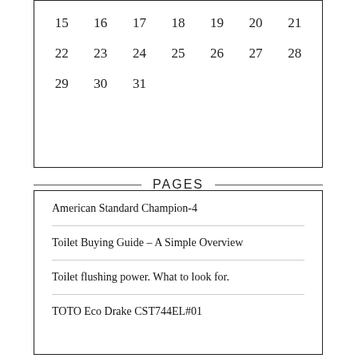| 15 | 16 | 17 | 18 | 19 | 20 | 21 |
| 22 | 23 | 24 | 25 | 26 | 27 | 28 |
| 29 | 30 | 31 |  |  |  |  |
PAGES
American Standard Champion-4
Toilet Buying Guide – A Simple Overview
Toilet flushing power. What to look for.
TOTO Eco Drake CST744EL#01